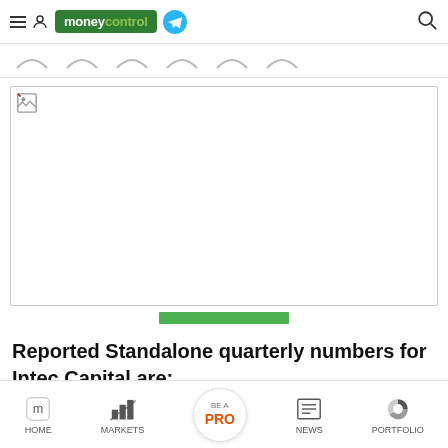moneycontrol
[Figure (screenshot): Navigation tabs row with circular tab icons]
[Figure (photo): Advertisement or image placeholder with broken image icon]
[Figure (other): Green horizontal bar decorative element]
Reported Standalone quarterly numbers for Intec Capital are:
HOME | MARKETS | BE A PRO | NEWS | PORTFOLIO